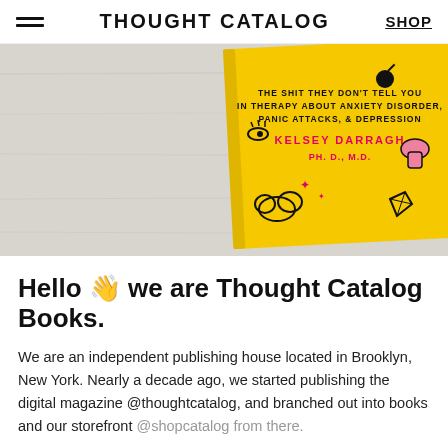THOUGHT CATALOG   SHOP
[Figure (photo): A yellow book titled with text about anxiety disorder, panic attacks, and depression by Kelsey Darragh Ph.D., M.D., lying on a white wooden surface. The book has playful doodle illustrations on its cover.]
Hello 👋 we are Thought Catalog Books.
We are an independent publishing house located in Brooklyn, New York. Nearly a decade ago, we started publishing the digital magazine @thoughtcatalog, and branched out into books and our storefront @shopcatalog from there.
We publish unique and visually stunning books from